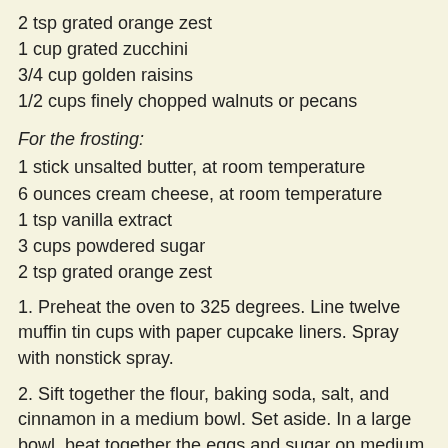2 tsp grated orange zest
1 cup grated zucchini
3/4 cup golden raisins
1/2 cups finely chopped walnuts or pecans
For the frosting:
1 stick unsalted butter, at room temperature
6 ounces cream cheese, at room temperature
1 tsp vanilla extract
3 cups powdered sugar
2 tsp grated orange zest
1. Preheat the oven to 325 degrees. Line twelve muffin tin cups with paper cupcake liners. Spray with nonstick spray.
2. Sift together the flour, baking soda, salt, and cinnamon in a medium bowl. Set aside. In a large bowl, beat together the eggs and sugar on medium speed until smooth and thick, 1 minute. Stop the mixer and scrape the sides as needed. On low speed, mix in the oil, vanilla, and orange zest until blended. Mix in the flour mixture to incorporate.
3. Press down on the zucchini to extract as much liquid as